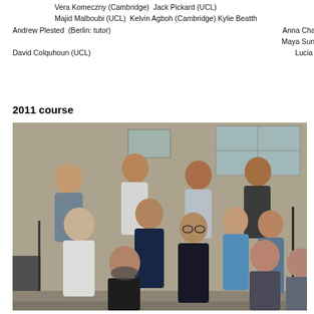Vera Komeczny (Cambridge)  Jack Pickard (UCL)
Majid Malboubi (UCL)  Kelvin Agboh (Cambridge) Kylie Beatth...
Andrew Plested  (Berlin: tutor)                                                              Anna Chatzio...
                                                                                            Maya Sunduk...
David Colquhoun (UCL)                                                                       Lucia Sivi...
2011 course
[Figure (photo): Group photo of approximately 13 people standing outside a brick building on steps, including men and women of various ages.]